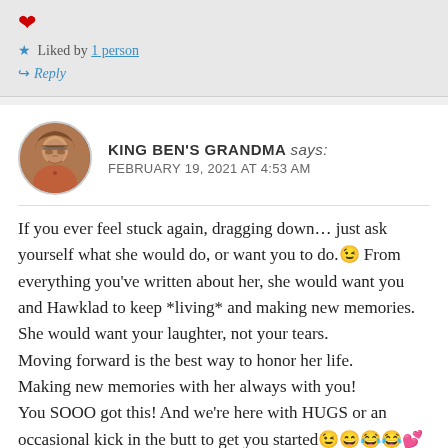[Figure (other): Red heart emoji icon]
★ Liked by 1 person
↪ Reply
[Figure (photo): Circular avatar photo of King Ben's Grandma, a woman with glasses wearing a red top]
KING BEN'S GRANDMA says: FEBRUARY 19, 2021 AT 4:53 AM
If you ever feel stuck again, dragging down… just ask yourself what she would do, or want you to do.😉 From everything you've written about her, she would want you and Hawklad to keep *living* and making new memories. She would want your laughter, not your tears.
Moving forward is the best way to honor her life.
Making new memories with her always with you!
You SOOO got this! And we're here with HUGS or an occasional kick in the butt to get you started😉😄😂😂💕